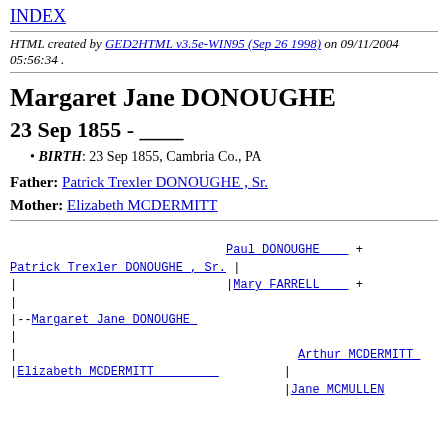INDEX
HTML created by GED2HTML v3.5e-WIN95 (Sep 26 1998) on 09/11/2004 05:56:34 .
Margaret Jane DONOUGHE
23 Sep 1855 - ____
BIRTH: 23 Sep 1855, Cambria Co., PA
Father: Patrick Trexler DONOUGHE , Sr.
Mother: Elizabeth MCDERMITT
[Figure (other): Genealogy tree diagram showing family relationships: Patrick Trexler DONOUGHE Sr. connected to Paul DONOUGHE + and Mary FARRELL +; Margaret Jane DONOUGHE as child; Elizabeth MCDERMITT connected to Arthur MCDERMITT and Jane MCMULLEN]